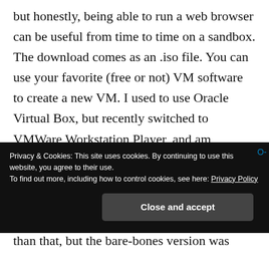but honestly, being able to run a web browser can be useful from time to time on a sandbox. The download comes as an .iso file. You can use your favorite (free or not) VM software to create a new VM. I used to use Oracle Virtual Box, but recently switched to VMWare Workstation Player, and am enjoying it a lot. You do not need a paid version of the VM software simply to create VMs for your own use. You may need it to do anything more
Privacy & Cookies: This site uses cookies. By continuing to use this website, you agree to their use.
To find out more, including how to control cookies, see here: Privacy Policy
Close and accept
than that, but the bare-bones version was